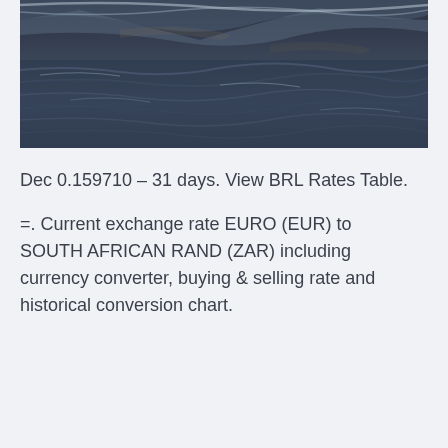[Figure (photo): A photo of ocean waves or water surface with dark blue-grey tones, partially cropped at top]
Dec 0.159710 – 31 days. View BRL Rates Table.
=. Current exchange rate EURO (EUR) to SOUTH AFRICAN RAND (ZAR) including currency converter, buying & selling rate and historical conversion chart.